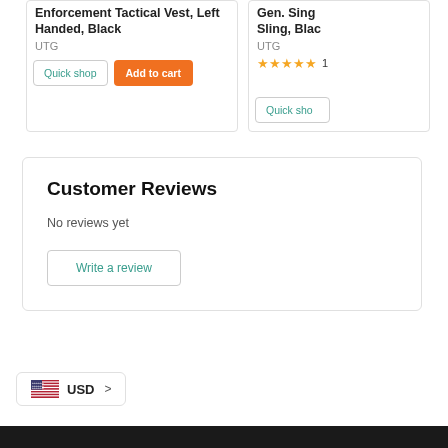Enforcement Tactical Vest, Left Handed, Black
UTG
Quick shop
Add to cart
Gen. Sing Sling, Black
UTG
★★★★★ 1
Quick sho
Customer Reviews
No reviews yet
Write a review
USD >